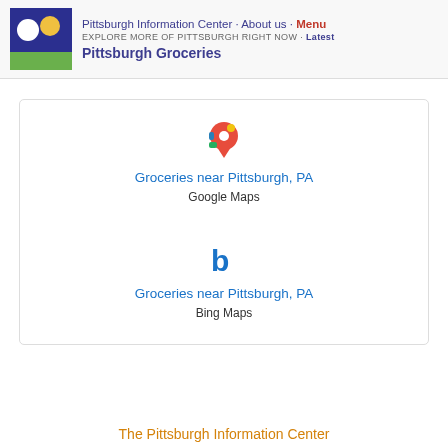Pittsburgh Information Center · About us · Menu
EXPLORE MORE OF PITTSBURGH RIGHT NOW · Latest
Pittsburgh Groceries
[Figure (other): Two linked map search results: 'Groceries near Pittsburgh, PA - Google Maps' with Google Maps pin icon, and 'Groceries near Pittsburgh, PA - Bing Maps' with Bing logo icon, inside a rounded card]
The Pittsburgh Information Center